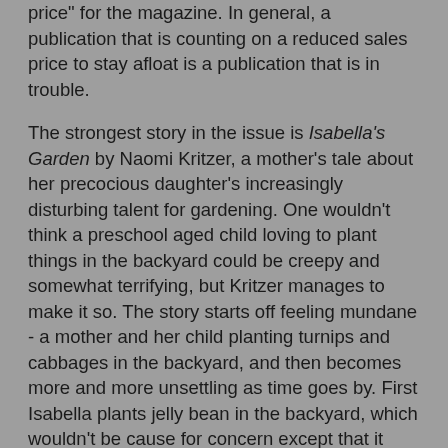price" for the magazine. In general, a publication that is counting on a reduced sales price to stay afloat is a publication that is in trouble.
The strongest story in the issue is Isabella's Garden by Naomi Kritzer, a mother's tale about her precocious daughter's increasingly disturbing talent for gardening. One wouldn't think a preschool aged child loving to plant things in the backyard could be creepy and somewhat terrifying, but Kritzer manages to make it so. The story starts off feeling mundane - a mother and her child planting turnips and cabbages in the backyard, and then becomes more and more unsettling as time goes by. First Isabella plants jelly bean in the backyard, which wouldn't be cause for concern except that it grows into a jelly bean plant. Then she plants a quarter. And then she decides that she wants a little sister and concocts a plan to overcome her mother's infertility. By the end of the story, what had seemed so innocent and sweet is transformed into something that is innocent and threatening.
The other two strong stories in the volume are both